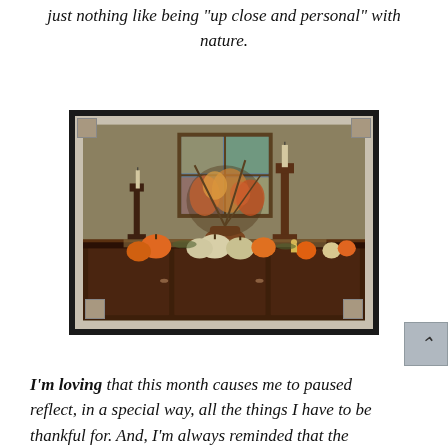just nothing like being "up close and personal" with nature.
[Figure (photo): A wooden sideboard/buffet decorated with fall/autumn decor including pumpkins, gourds, candlesticks, and a floral arrangement, with a stained glass window visible in the background.]
I'm loving  that this month causes me to pause and reflect, in a special way, all the things I have to be thankful for.  And, I'm always reminded that the